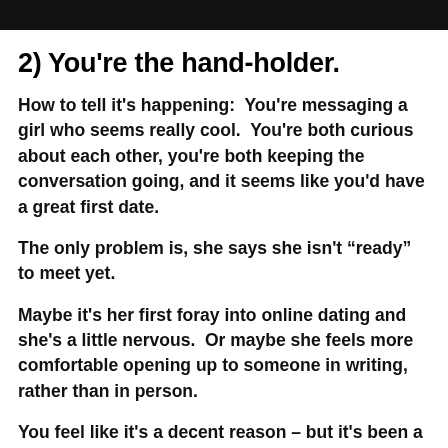[Figure (other): Black header bar at top of page]
2) You're the hand-holder.
How to tell it's happening:  You're messaging a girl who seems really cool.  You're both curious about each other, you're both keeping the conversation going, and it seems like you'd have a great first date.
The only problem is, she says she isn't “ready” to meet yet.
Maybe it's her first foray into online dating and she's a little nervous.  Or maybe she feels more comfortable opening up to someone in writing, rather than in person.
You feel like it's a decent reason – but it's been a few weeks of these (otherwise great) messages, and you're not looking